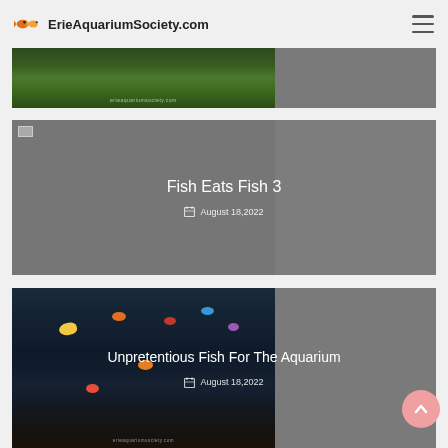ErieAquariumSociety.com
[Figure (photo): Partial view of an aquarium with plants, watermark erieaquariumsociety.com at bottom]
[Figure (photo): Gray card with small broken image icon, showing Fish Eats Fish 3 article card]
Fish Eats Fish 3
August 18,2022
[Figure (photo): Aquarium with colorful tropical fish, watermark erieaquariumsociety.com at bottom, Unpretentious Fish For The Aquarium article card]
Unpretentious Fish For The Aquarium
August 18,2022